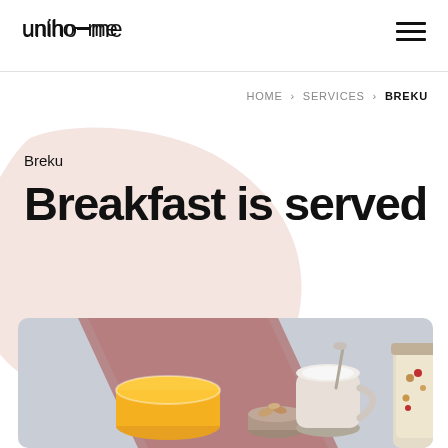unihome
HOME > SERVICES > BREKU
Breku
Breakfast is served
[Figure (photo): Overhead photo of a breakfast scene: orange juice glass, almonds in a cup, a pink cloth napkin, a ceramic creamer with milk, and a jar of granola with berries, on a light blue-grey background.]